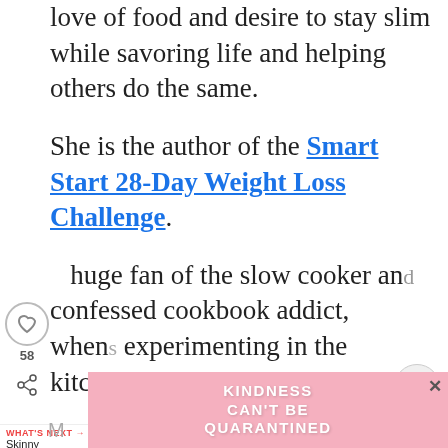love of food and desire to stay slim while savoring life and helping others do the same.
She is the author of the Smart Start 28-Day Weight Loss Challenge.
huge fan of the slow cooker and confessed cookbook addict, when experimenting in the kitchen, you're likely to find
[Figure (screenshot): UI overlay elements: heart/like button with count 58, share button, back-to-top chevron button, search button, and a 'What's Next' navigation bar with 'Skinny Strawberry...' label and thumbnail image.]
[Figure (infographic): Pink advertisement banner reading 'KINDNESS CAN'T BE QUARANTINED' with a close (X) button.]